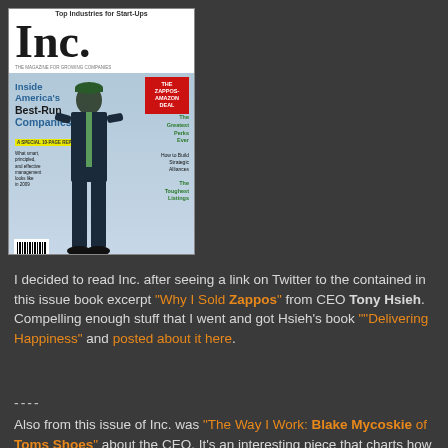[Figure (photo): Cover of Inc. magazine showing a businessman in a suit with text 'Top Industries for Start-Ups', 'Inside America's Best-Run Companies', and a red box with 'THE ZAPPOS-AMAZON DEAL']
I decided to read Inc. after seeing a link on Twitter to the contained in this issue book excerpt "Why I Sold Zappos" from CEO Tony Hsieh. Compelling enough stuff that I went and got Hsieh's book ""Delivering Happiness" and posted about it here.
----
Also from this issue of Inc. was "The Way I Work: Blake Mycoskie of Toms Shoes" about the CEO. It's an interesting piece that charts how the 33 year old founder